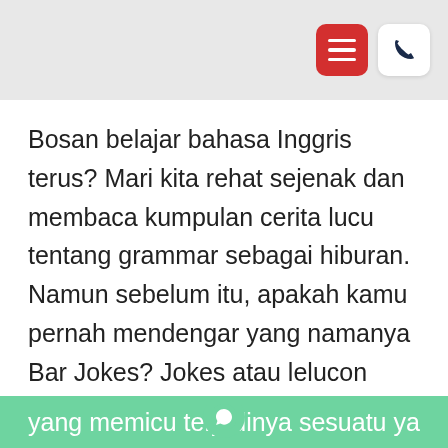[Figure (screenshot): Header bar with red hamburger menu icon and white phone icon on grey background]
Bosan belajar bahasa Inggris terus? Mari kita rehat sejenak dan membaca kumpulan cerita lucu tentang grammar sebagai hiburan. Namun sebelum itu, apakah kamu pernah mendengar yang namanya Bar Jokes? Jokes atau lelucon berbahasa Inggris ini umumnya diawali dengan kalimat seseorang yang masuk ke bar, kemudian terjadihlah percakapan atau peristiwa
yang memicu terjadinya sesuatu yang lucu.